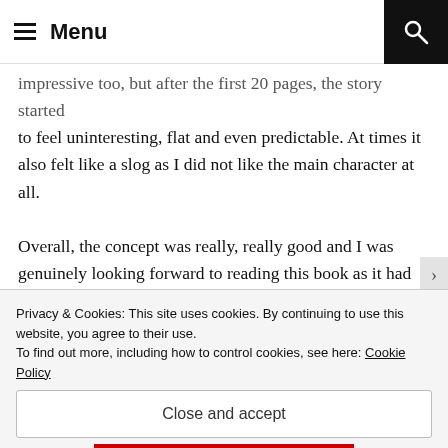Menu
impressive too, but after the first 20 pages, the story started to feel uninteresting, flat and even predictable. At times it also felt like a slog as I did not like the main character at all. Overall, the concept was really, really good and I was genuinely looking forward to reading this book as it had some pretty good theme going on, but unfortunately the characterization and the pacing and tension of the story ruined it.

I had problems with some of the dialogues too, but that's okay given that the book is a translated edition
Privacy & Cookies: This site uses cookies. By continuing to use this website, you agree to their use.
To find out more, including how to control cookies, see here: Cookie Policy
Close and accept